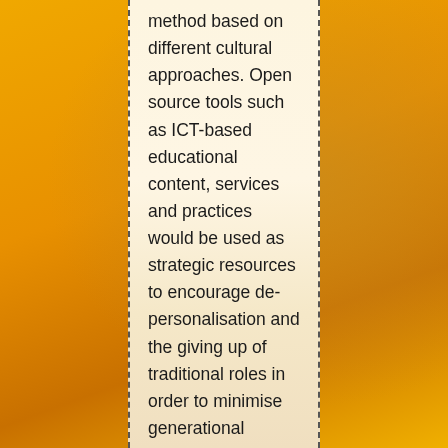method based on different cultural approaches. Open source tools such as ICT-based educational content, services and practices would be used as strategic resources to encourage de-personalisation and the giving up of traditional roles in order to minimise generational conflicts.
Actions for the project include: